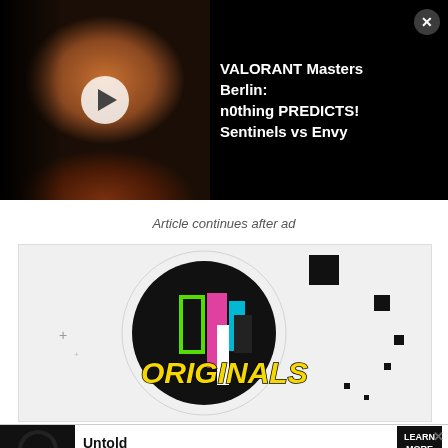[Figure (screenshot): Video thumbnail showing a man with a red beard in dark lighting, with a play button overlay. Title text reads: VALORANT Masters Berlin: n0thing PREDICTS! Sentinels vs Envy. A close X button appears in the top right.]
Article continues after ad
[Figure (screenshot): Advertisement banner showing TikTok Originals logo — a dark circle with colorful abstract shapes and graffiti-style yellow text reading ORIGINALS. Small geometric black squares are scattered around.]
[Figure (screenshot): Bottom ad bar with TikTok Originals logo on left, text 'Untold Influencer Stories' in center, and 'LEARN MORE' button on right. An X close button appears in top right corner.]